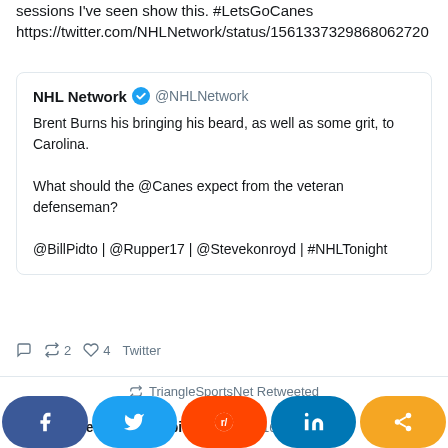sessions I've seen show this. #LetsGoCanes https://twitter.com/NHLNetwork/status/1561337329868062720
NHL Network @NHLNetwork
Brent Burns his bringing his beard, as well as some grit, to Carolina.

What should the @Canes expect from the veteran defenseman?

@BillPidto | @Rupper17 | @Stevekonroyd | #NHLTonight
2  4  Twitter
TriangleSportsNet Retweeted
Peter Koutroumpis @pksport · 16 Aug